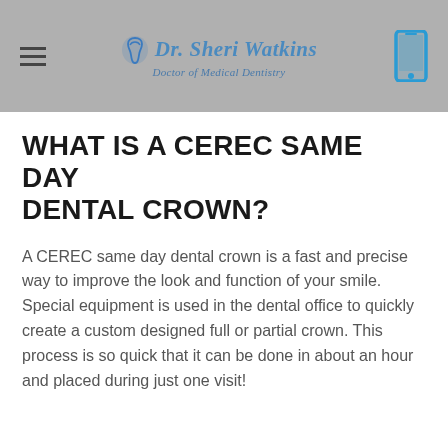Dr. Sheri Watkins — Doctor of Medical Dentistry
WHAT IS A CEREC SAME DAY DENTAL CROWN?
A CEREC same day dental crown is a fast and precise way to improve the look and function of your smile. Special equipment is used in the dental office to quickly create a custom designed full or partial crown. This process is so quick that it can be done in about an hour and placed during just one visit!